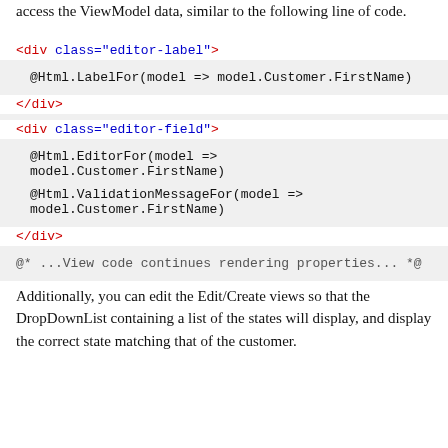access the ViewModel data, similar to the following line of code.
<div class="editor-label">
@Html.LabelFor(model => model.Customer.FirstName)
</div>
<div class="editor-field">
@Html.EditorFor(model => model.Customer.FirstName)
@Html.ValidationMessageFor(model => model.Customer.FirstName)
</div>
@* ...View code continues rendering properties... *@
Additionally, you can edit the Edit/Create views so that the DropDownList containing a list of the states will display, and display the correct state matching that of the customer.